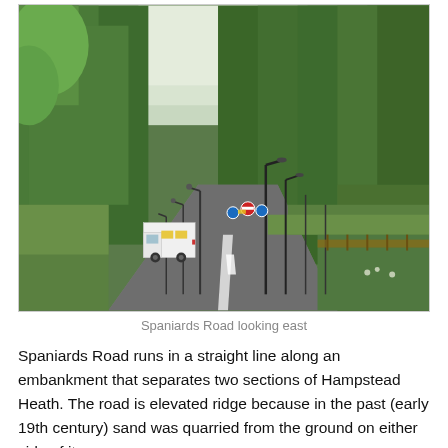[Figure (photo): A photograph of Spaniards Road looking east. A white delivery truck drives along a straight road flanked by tall green trees on both sides. Street lights line the road. Road signs including a 'no entry' circle sign and blue circular signs are visible in the middle distance. Green embankment vegetation lines the right side.]
Spaniards Road looking east
Spaniards Road runs in a straight line along an embankment that separates two sections of Hampstead Heath. The road is elevated ridge because in the past (early 19th century) sand was quarried from the ground on either side of it.